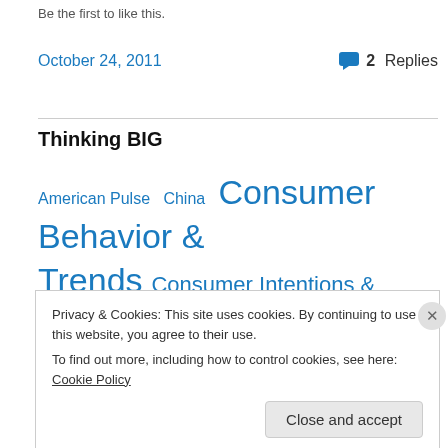Be the first to like this.
October 24, 2011   2 Replies
Thinking BIG
American Pulse  China  Consumer Behavior & Trends  Consumer Intentions & Actions Survey  Economy  Executive Briefing  General  Holiday Shopping  InsightCenters
Privacy & Cookies: This site uses cookies. By continuing to use this website, you agree to their use.
To find out more, including how to control cookies, see here: Cookie Policy
Close and accept